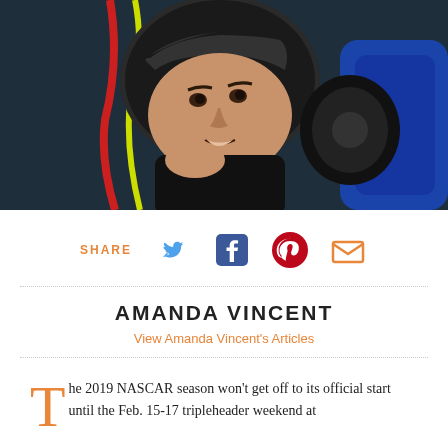[Figure (photo): Close-up photo of a NASCAR racing driver in a helmet and racing gear inside a race car, looking upward]
SHARE
[Figure (infographic): Social sharing icons: Twitter, Facebook, Pinterest, Email]
AMANDA VINCENT
View Amanda Vincent's Articles
The 2019 NASCAR season won't get off to its official start until the Feb. 15-17 tripleheader weekend at